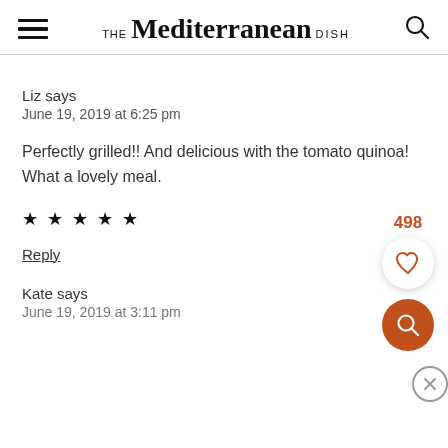THE Mediterranean DISH
Liz says
June 19, 2019 at 6:25 pm
Perfectly grilled!! And delicious with the tomato quinoa! What a lovely meal.
★★★★★
Reply
Kate says
June 19, 2019 at 3:11 pm